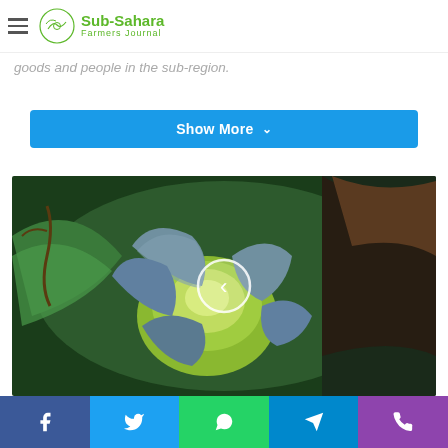Sub-Sahara Farmers Journal
goods and people in the sub-region.
Show More
[Figure (photo): Close-up photograph of a green cabbage head in a farm field, surrounded by large green leaves, with dark soil and plant material visible in the background. A left-facing navigation arrow (chevron) in a white circle is overlaid at the center of the image.]
Facebook | Twitter | WhatsApp | Telegram | Phone